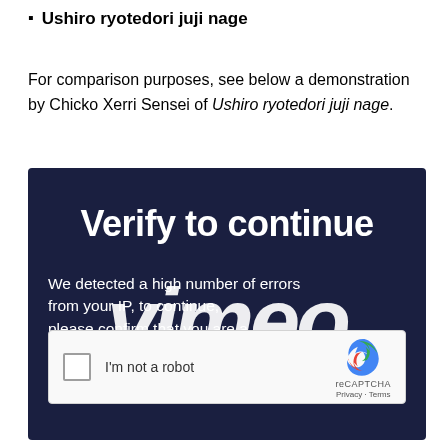Ushiro ryotedori juji nage
For comparison purposes, see below a demonstration by Chicko Xerri Sensei of Ushiro ryotedori juji nage.
[Figure (screenshot): Vimeo 'Verify to continue' page with reCAPTCHA widget. Dark navy background with large white bold text 'Verify to continue' at top. Below that: 'We detected a high number of errors from your IP, to continue, please confirm that you are a human (and not a spambot).' A large italic Vimeo logo watermark overlays the text. At the bottom is a reCAPTCHA checkbox widget with 'I'm not a robot' label and reCAPTCHA Privacy/Terms links.]